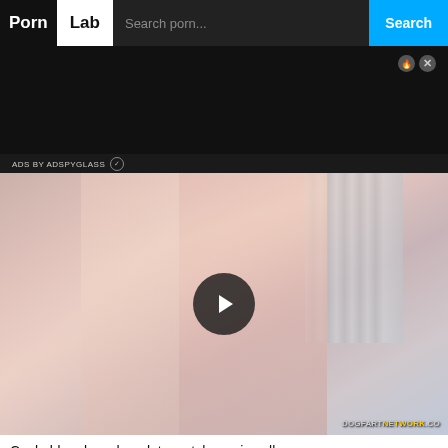Porn Lab - Search porn...
[Figure (screenshot): Video thumbnail showing a blonde woman in pink and black lace clothing with a play button overlay. Watermark reads DOGFARTNETWORK.CO]
ADS BY ADSPYGLASS
Cuckold makes chocolate watches miss all...